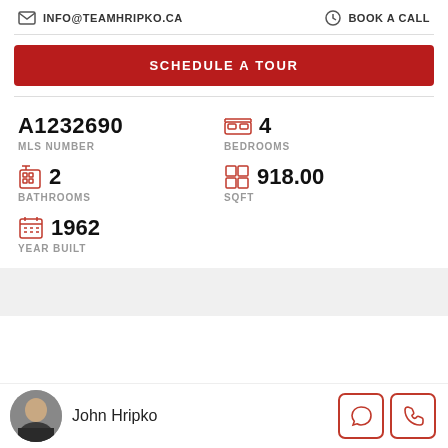INFO@TEAMHRIPKO.CA   BOOK A CALL
SCHEDULE A TOUR
A1232690
MLS NUMBER
4
BEDROOMS
2
BATHROOMS
918.00
SQFT
1962
YEAR BUILT
John Hripko